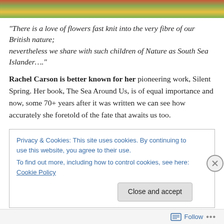[Figure (photo): Colorful flower/nature photo strip at top of page]
“There is a love of flowers fast knit into the very fibre of our British nature; nevertheless we share with such children of Nature as South Sea Islander….”
Rachel Carson is better known for her pioneering work, Silent Spring. Her book, The Sea Around Us, is of equal importance and now, some 70+ years after it was written we can see how accurately she foretold of the fate that awaits us too.
Privacy & Cookies: This site uses cookies. By continuing to use this website, you agree to their use.
To find out more, including how to control cookies, see here: Cookie Policy
Follow